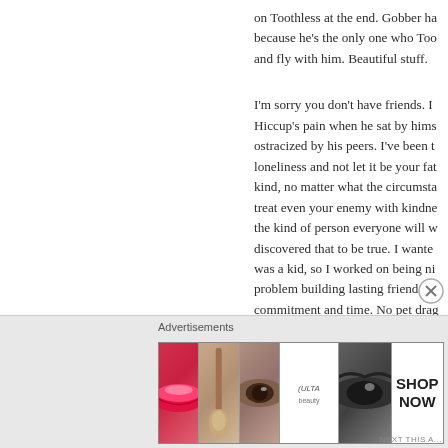on Toothless at the end. Gobber has because he's the only one who Too and fly with him. Beautiful stuff.
I'm sorry you don't have friends. I Hiccup's pain when he sat by hims ostracized by his peers. I've been t loneliness and not let it be your fat kind, no matter what the circumsta treat even your enemy with kindne the kind of person everyone will w discovered that to be true. I wante was a kid, so I worked on being ni problem building lasting friendshi commitment and time. No pet drag
Advertisements
[Figure (photo): Advertisement banner showing beauty/makeup images: lips with red lipstick, makeup brush, eye with dramatic makeup, ULTA beauty logo, smoky eye close-up, and SHOP NOW button]